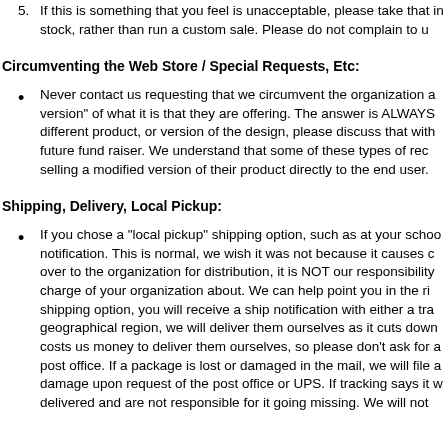5. If this is something that you feel is unacceptable, please take that in stock, rather than run a custom sale. Please do not complain to u
Circumventing the Web Store / Special Requests, Etc:
Never contact us requesting that we circumvent the organization a version" of what it is that they are offering. The answer is ALWAYS different product, or version of the design, please discuss that wit future fund raiser. We understand that some of these types of re selling a modified version of their product directly to the end user.
Shipping, Delivery, Local Pickup:
If you chose a "local pickup" shipping option, such as at your scho notification.   This is normal, we wish it was not because it causes c over to the organization for distribution, it is NOT our responsibility charge of your organization about.   We can help point you in the r shipping option, you will receive a ship notification with either a tra geographical region, we will deliver them ourselves as it cuts down costs us money to deliver them ourselves, so please don't ask for a post office.  If a package is lost or damaged in the mail, we will file a damage upon request of the post office or UPS.  If tracking says it w delivered and are not responsible for it going missing.   We will not